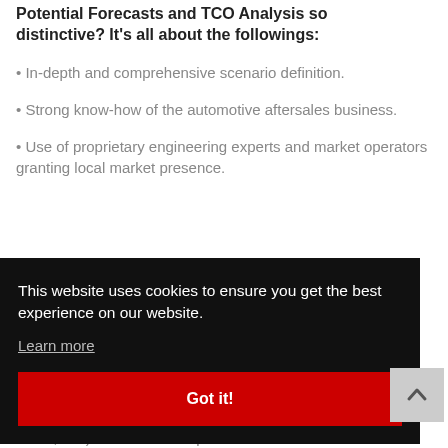Potential Forecasts and TCO Analysis so distinctive? It's all about the followings:
• In-depth and comprehensive scenario definition.
• Strong know-how of the automotive aftersales business.
• Use of proprietary engineering experts and market operators granting local market presence.
This website uses cookies to ensure you get the best experience on our website.
Learn more
Got it!
offers, etc.) for Customers' peace of mind